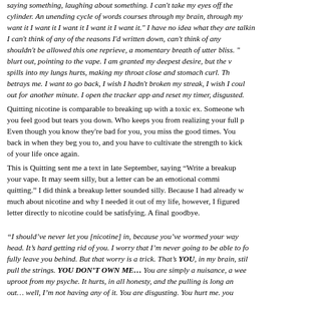saying something, laughing about something. I can't take my eyes off the cylinder. An unending cycle of words courses through my brain, through my want it I want it I want it I want it I want it." I have no idea what they are talkin I can't think of any of the reasons I'd written down, can't think of any shouldn't be allowed this one reprieve, a momentary breath of utter bliss. " blurt out, pointing to the vape. I am granted my deepest desire, but the v spills into my lungs hurts, making my throat close and stomach curl. Th betrays me. I want to go back, I wish I hadn't broken my streak, I wish I coul out for another minute. I open the tracker app and reset my timer, disgusted.
Quitting nicotine is comparable to breaking up with a toxic ex. Someone wh you feel good but tears you down. Who keeps you from realizing your full p Even though you know they're bad for you, you miss the good times. You back in when they beg you to, and you have to cultivate the strength to kick of your life once again.
This is Quitting sent me a text in late September, saying “Write a breakup your vape. It may seem silly, but a letter can be an emotional commi quitting.” I did think a breakup letter sounded silly. Because I had already w much about nicotine and why I needed it out of my life, however, I figured letter directly to nicotine could be satisfying. A final goodbye.
“I should’ve never let you [nicotine] in, because you’ve wormed your way head. It’s hard getting rid of you. I worry that I’m never going to be able to fo fully leave you behind. But that worry is a trick. That’s YOU, in my brain, stil pull the strings. YOU DON’T OWN ME… You are simply a nuisance, a wee uproot from my psyche. It hurts, in all honesty, and the pulling is long an out… well, I’m not having any of it. You are disgusting. You hurt me. you